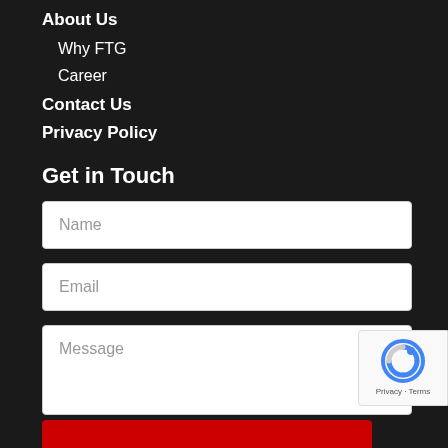About Us
Why FTG
Career
Contact Us
Privacy Policy
Get in Touch
Name
Email
Message
[Figure (other): reCAPTCHA badge with logo and Privacy - Terms text]
Submit button (red bar)